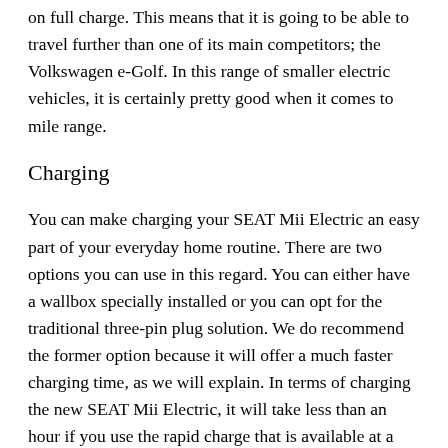on full charge. This means that it is going to be able to travel further than one of its main competitors; the Volkswagen e-Golf. In this range of smaller electric vehicles, it is certainly pretty good when it comes to mile range.
Charging
You can make charging your SEAT Mii Electric an easy part of your everyday home routine. There are two options you can use in this regard. You can either have a wallbox specially installed or you can opt for the traditional three-pin plug solution. We do recommend the former option because it will offer a much faster charging time, as we will explain. In terms of charging the new SEAT Mii Electric, it will take less than an hour if you use the rapid charge that is available at a public charging system. This is the quickest way for you to charge your new vehicle. You will often find these chargers in locations close to main roads and at motorway services. If